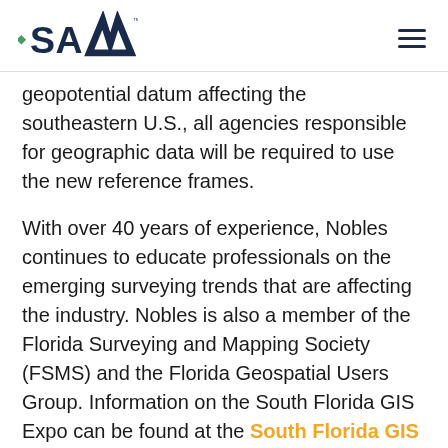SAM [logo] [hamburger menu]
geopotential datum affecting the southeastern U.S., all agencies responsible for geographic data will be required to use the new reference frames.
With over 40 years of experience, Nobles continues to educate professionals on the emerging surveying trends that are affecting the industry. Nobles is also a member of the Florida Surveying and Mapping Society (FSMS) and the Florida Geospatial Users Group. Information on the South Florida GIS Expo can be found at the South Florida GIS Expo website.
SHARE:
[Figure (illustration): LinkedIn, Twitter/X, and Facebook social media icons in dark navy/black color]